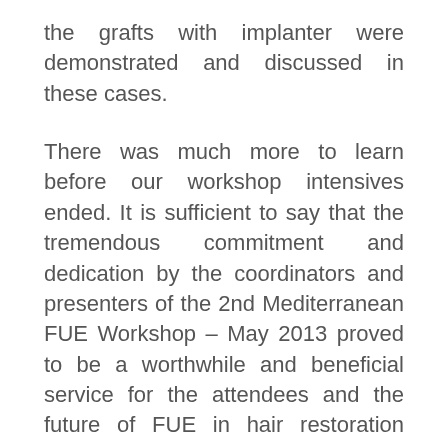the grafts with implanter were demonstrated and discussed in these cases.
There was much more to learn before our workshop intensives ended. It is sufficient to say that the tremendous commitment and dedication by the coordinators and presenters of the 2nd Mediterranean FUE Workshop – May 2013 proved to be a worthwhile and beneficial service for the attendees and the future of FUE in hair restoration surgery.
We did have opportunities to enjoy the regalia and splendor of